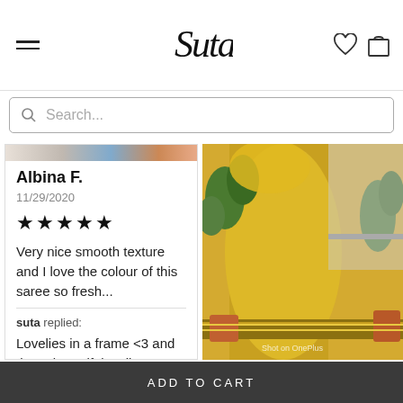Suta — navigation header with hamburger menu, logo, heart and cart icons
Search...
Albina F.
11/29/2020
★★★★★
Very nice smooth texture and I love the colour of this saree so fresh...
suta replied:
Lovelies in a frame <3 and those beautiful smiles <3
[Figure (photo): Photo of a woman wearing a yellow saree with embroidered border, standing near potted plants on a balcony. 'Shot on OnePlus' watermark visible.]
Uma K.
5/17/2021
★★★★★
ADD TO CART